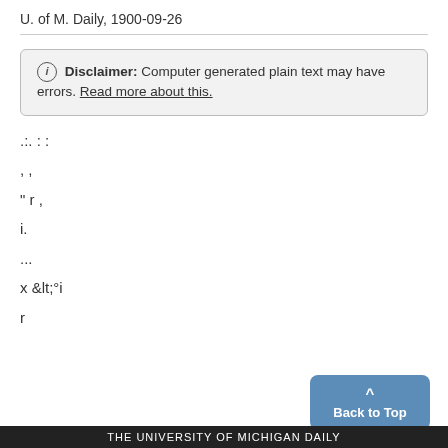U. of M. Daily, 1900-09-26
ⓘ Disclaimer: Computer generated plain text may have errors. Read more about this.
.:. : :
, ,
" r ,
i.
...
x &lt;°i
r
THE UNIVERSITY OF MICHIGAN DAILY